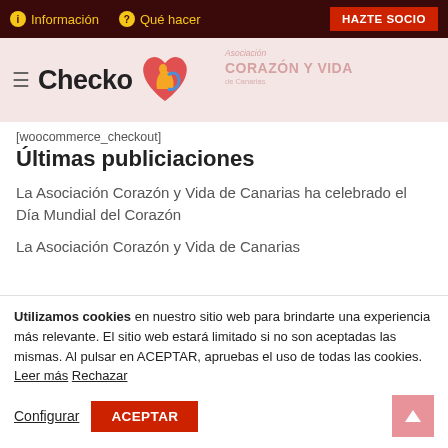Información | Qué hacer | HAZTE SOCIO
[Figure (logo): Checko logo with heart and figure, Asociación Corazón y Vida de Canarias]
[woocommerce_checkout]
Últimas publiciaciones
La Asociación Corazón y Vida de Canarias ha celebrado el Día Mundial del Corazón
La Asociación Corazón y Vida de Canarias
Utilizamos cookies en nuestro sitio web para brindarte una experiencia más relevante. El sitio web estará limitado si no son aceptadas las mismas. Al pulsar en ACEPTAR, apruebas el uso de todas las cookies. Leer más Rechazar
Configurar | ACEPTAR